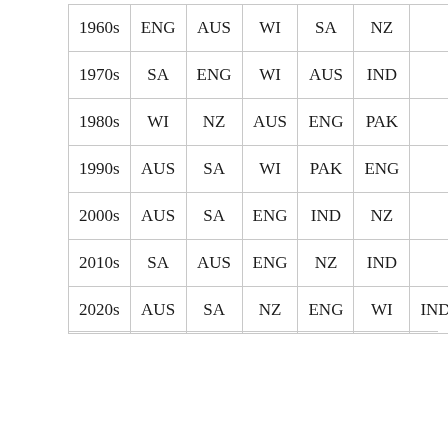| 1960s | ENG | AUS | WI | SA | NZ |  |
| 1970s | SA | ENG | WI | AUS | IND |  |
| 1980s | WI | NZ | AUS | ENG | PAK |  |
| 1990s | AUS | SA | WI | PAK | ENG |  |
| 2000s | AUS | SA | ENG | IND | NZ |  |
| 2010s | SA | AUS | ENG | NZ | IND |  |
| 2020s | AUS | SA | NZ | ENG | WI | IND |